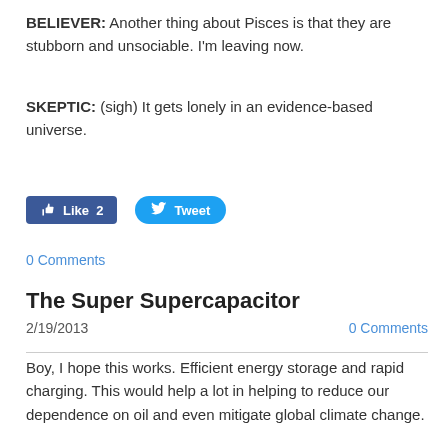BELIEVER:  Another thing about Pisces is that they are stubborn and unsociable. I'm leaving now.
SKEPTIC:   (sigh) It gets lonely in an evidence-based universe.
[Figure (other): Facebook Like button showing count 2 and Twitter Tweet button]
0 Comments
The Super Supercapacitor
2/19/2013
0 Comments
Boy, I hope this works.  Efficient energy storage and rapid charging. This would help a lot in helping to reduce our dependence on oil and even mitigate global climate change.